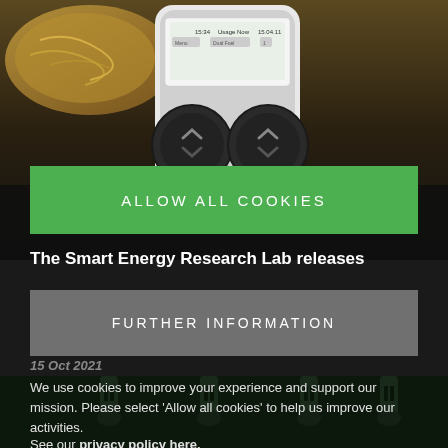[Figure (screenshot): Screenshot of a website with a cookie consent modal overlay. Top portion shows a photo of a smart energy meter device and food in background. A green 'ALLOW ALL COOKIES' button and grey 'FURTHER INFORMATION' button are displayed as a cookie consent banner. Below is a heading 'The Smart Energy Research Lab releases', a date, and cookie consent text.]
ALLOW ALL COOKIES
The Smart Energy Research Lab releases
FURTHER INFORMATION
We use cookies to improve your experience and support our mission. Please select 'Allow all cookies' to help us improve our activities.
See our privacy policy here.